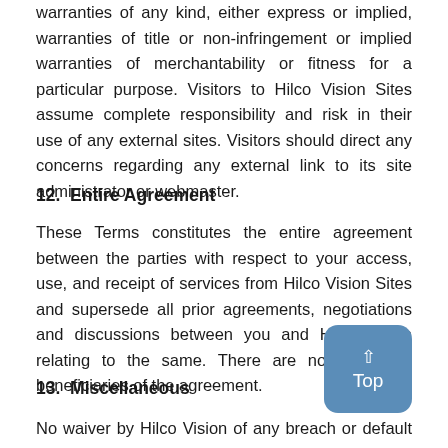warranties of any kind, either express or implied, warranties of title or non-infringement or implied warranties of merchantability or fitness for a particular purpose. Visitors to Hilco Vision Sites assume complete responsibility and risk in their use of any external sites. Visitors should direct any concerns regarding any external link to its site administrator or webmaster.
12.  Entire Agreement
These Terms constitutes the entire agreement between the parties with respect to your access, use, and receipt of services from Hilco Vision Sites and supersede all prior agreements, negotiations and discussions between you and Hilco Vision relating to the same. There are no third-party beneficiaries of the agreement.
13.  Miscellaneous
No waiver by Hilco Vision of any breach or default hereunder